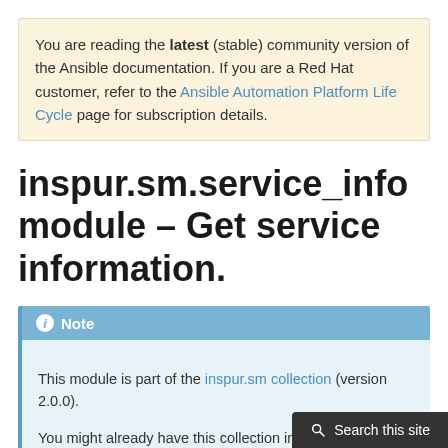You are reading the latest (stable) community version of the Ansible documentation. If you are a Red Hat customer, refer to the Ansible Automation Platform Life Cycle page for subscription details.
inspur.sm.service_info module – Get service information.
Note
This module is part of the inspur.sm collection (version 2.0.0).

You might already have this collection installed if you are using the ansible package. It is